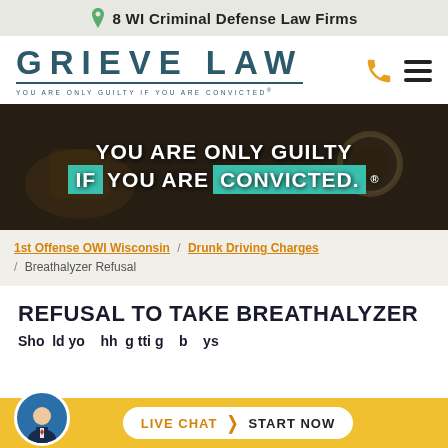8 WI Criminal Defense Law Firms
[Figure (logo): Grieve Law logo with tagline: YOU ARE ONLY GUILTY IF YOU ARE CONVICTED®]
[Figure (photo): Hero banner with whiskey glass background image and white bold text: YOU ARE ONLY GUILTY IF YOU ARE CONVICTED.® with teal highlighted words IF and CONVICTED]
1st Offense OWI Wisconsin / Drunk Driving Charges / Breathalyzer Refusal
REFUSAL TO TAKE BREATHALYZER
Sho ld yo   hh  g tti g    b    ys
LIVE CHAT  ›  START NOW